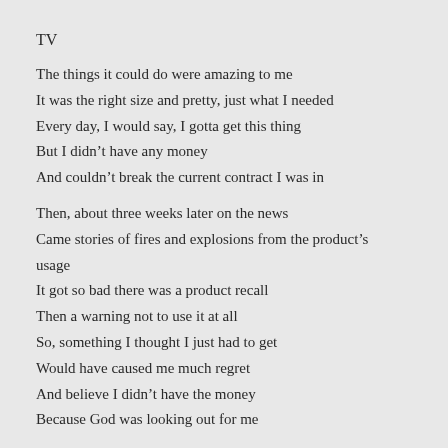TV
The things it could do were amazing to me
It was the right size and pretty, just what I needed
Every day, I would say, I gotta get this thing
But I didn’t have any money
And couldn’t break the current contract I was in
Then, about three weeks later on the news
Came stories of fires and explosions from the product’s usage
It got so bad there was a product recall
Then a warning not to use it at all
So, something I thought I just had to get
Would have caused me much regret
And believe I didn’t have the money
Because God was looking out for me